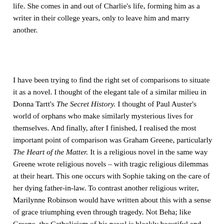life. She comes in and out of Charlie's life, forming him as a writer in their college years, only to leave him and marry another.
I have been trying to find the right set of comparisons to situate it as a novel. I thought of the elegant tale of a similar milieu in Donna Tartt's The Secret History. I thought of Paul Auster's world of orphans who make similarly mysterious lives for themselves. And finally, after I finished, I realised the most important point of comparison was Graham Greene, particularly The Heart of the Matter. It is a religious novel in the same way Greene wrote religious novels – with tragic religious dilemmas at their heart. This one occurs with Sophie taking on the care of her dying father-in-law. To contrast another religious writer, Marilynne Robinson would have written about this with a sense of grace triumphing even through tragedy. Not Beha; like Greene, the Catholicism of his novel is bleakly beautiful and tastes, ultimately, of death.